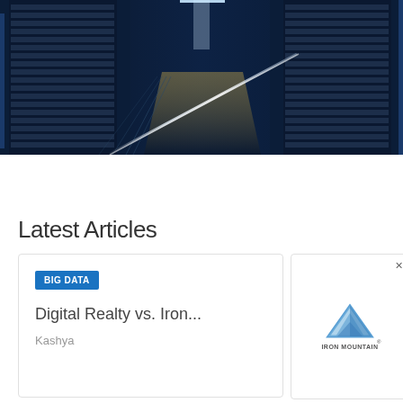[Figure (photo): Data center corridor with server racks on both sides, illuminated by blue lighting with a bright white light strip running down the center of the floor]
Latest Articles
[Figure (screenshot): Article card with BIG DATA badge, title 'Digital Realty vs. Iron...' and author 'Kashya']
[Figure (logo): Iron Mountain logo with mountain triangle graphic and IRON MOUNTAIN text]